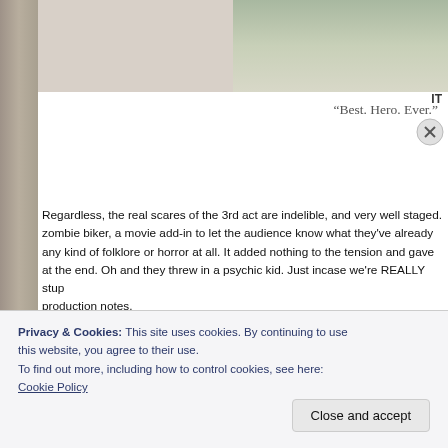[Figure (photo): Partial photo of a person in light colored clothing against a green/outdoor background, cropped at top of page]
“Best. Hero. Ever.”
Regardless, the real scares of the 3rd act are indelible, and very well staged. zombie biker, a movie add-in to let the audience know what they've already any kind of folklore or horror at all. It added nothing to the tension and gave at the end. Oh and they threw in a psychic kid. Just incase we're REALLY stup production notes.
Privacy & Cookies: This site uses cookies. By continuing to use this website, you agree to their use.
To find out more, including how to control cookies, see here: Cookie Policy